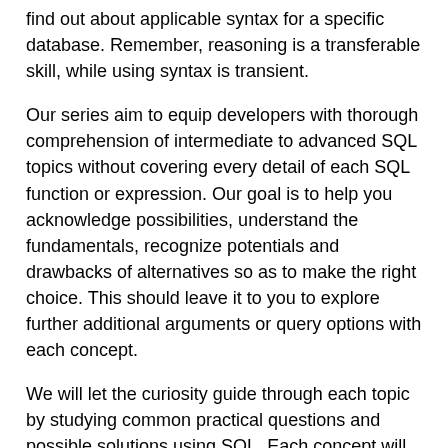find out about applicable syntax for a specific database. Remember, reasoning is a transferable skill, while using syntax is transient.
Our series aim to equip developers with thorough comprehension of intermediate to advanced SQL topics without covering every detail of each SQL function or expression. Our goal is to help you acknowledge possibilities, understand the fundamentals, recognize potentials and drawbacks of alternatives so as to make the right choice. This should leave it to you to explore further additional arguments or query options with each concept.
We will let the curiosity guide through each topic by studying common practical questions and possible solutions using SQL. Each concept will be broken down bit by bit along with analysis techniques used to approach each problem. You will not only learn SQL, but also analysis methods to address business problem.
We will look into probing questions of two main business areas and use SQL to find the answers: